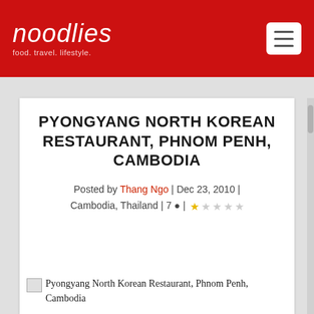noodlies — food. travel. lifestyle.
PYONGYANG NORTH KOREAN RESTAURANT, PHNOM PENH, CAMBODIA
Posted by Thang Ngo | Dec 23, 2010 | Cambodia, Thailand | 7 💬 | ★☆☆☆☆
[Figure (photo): Broken image placeholder for Pyongyang North Korean Restaurant, Phnom Penh, Cambodia]